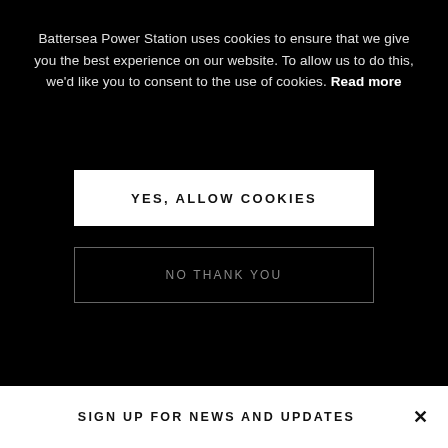Battersea Power Station uses cookies to ensure that we give you the best experience on our website. To allow us to do this, we'd like you to consent to the use of cookies. Read more
YES, ALLOW COOKIES
NO THANK YOU
SIGN UP FOR NEWS AND UPDATES